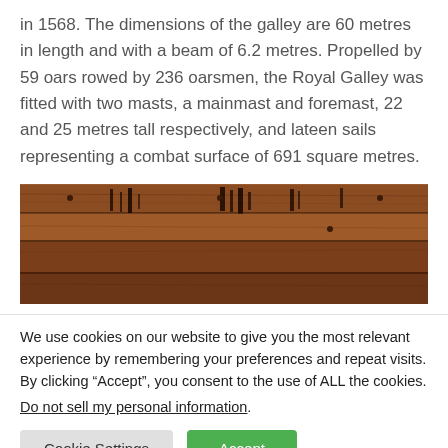in 1568. The dimensions of the galley are 60 metres in length and with a beam of 6.2 metres. Propelled by 59 oars rowed by 236 oarsmen, the Royal Galley was fitted with two masts, a mainmast and foremast, 22 and 25 metres tall respectively, and lateen sails representing a combat surface of 691 square metres.
[Figure (photo): Close-up photograph of wooden planks/beams of an old vessel, showing dark marks and grain patterns on aged brown wood.]
We use cookies on our website to give you the most relevant experience by remembering your preferences and repeat visits. By clicking “Accept”, you consent to the use of ALL the cookies.
Do not sell my personal information.